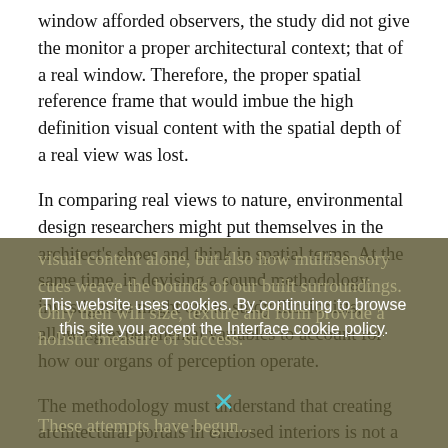window afforded observers, the study did not give the monitor a proper architectural context; that of a real window. Therefore, the proper spatial reference frame that would imbue the high definition visual content with the spatial depth of a real view was lost.
In comparing real views to nature, environmental design researchers might put themselves in the architect's shoes and think in spatial terms. At the same time, in devising a sound methodology, investigators might opt to study illusionists, allowing experimental variables to account for how our organs of perception operate.
The methodology must understand that creating architectural portals in enclosed interiors is not a matter of visual content alone, but also how multisensory cues weave the bounds of our built surroundings. Only then will size, texture and form provide holistic measure of success.
These attempts have begun...